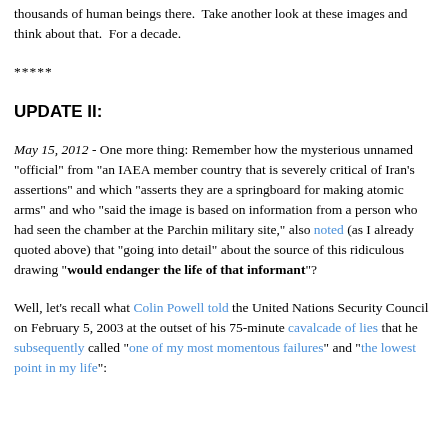thousands of human beings there.  Take another look at these images and think about that.  For a decade.
*****
UPDATE II:
May 15, 2012 - One more thing: Remember how the mysterious unnamed "official" from "an IAEA member country that is severely critical of Iran's assertions" and which "asserts they are a springboard for making atomic arms" and who "said the image is based on information from a person who had seen the chamber at the Parchin military site," also noted (as I already quoted above) that "going into detail" about the source of this ridiculous drawing "would endanger the life of that informant"?
Well, let's recall what Colin Powell told the United Nations Security Council on February 5, 2003 at the outset of his 75-minute cavalcade of lies that he subsequently called "one of my most momentous failures" and "the lowest point in my life":